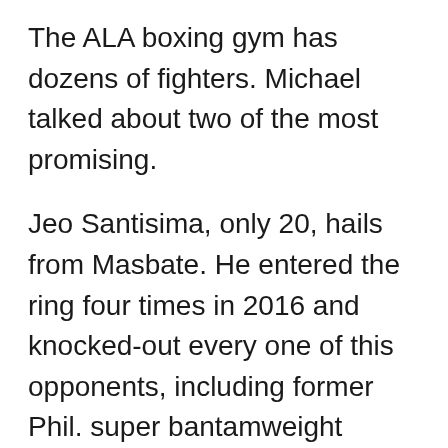The ALA boxing gym has dozens of fighters. Michael talked about two of the most promising.
Jeo Santisima, only 20, hails from Masbate. He entered the ring four times in 2016 and knocked-out every one of this opponents, including former Phil. super bantamweight champ Jerry Nardo and former Phil. superfly and bantamweight champ Marco Demecillo.
“Santisima concluded this year’s